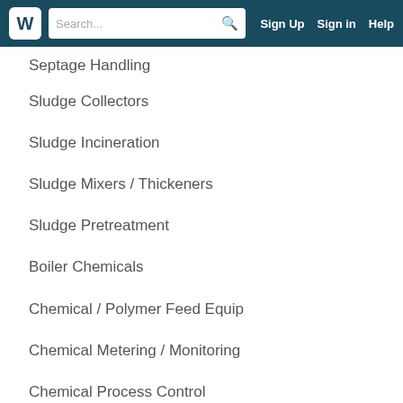W | Search... | Sign Up | Sign in | Help
Septage Handling
Sludge Collectors
Sludge Incineration
Sludge Mixers / Thickeners
Sludge Pretreatment
Boiler Chemicals
Chemical / Polymer Feed Equip
Chemical Metering / Monitoring
Chemical Process Control
Chlorination / Dechlorination Equip
Coagulants / Flocculants
Disinfection Chemicals